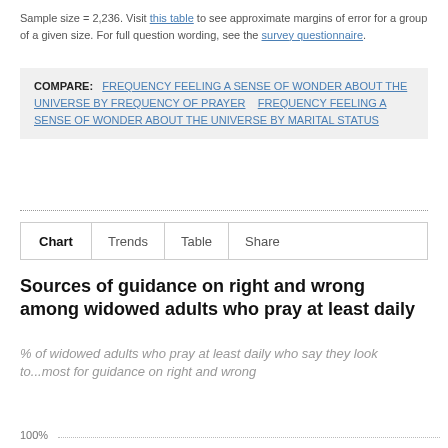Sample size = 2,236. Visit this table to see approximate margins of error for a group of a given size. For full question wording, see the survey questionnaire.
COMPARE: FREQUENCY FEELING A SENSE OF WONDER ABOUT THE UNIVERSE BY FREQUENCY OF PRAYER   FREQUENCY FEELING A SENSE OF WONDER ABOUT THE UNIVERSE BY MARITAL STATUS
Chart   Trends   Table   Share
Sources of guidance on right and wrong among widowed adults who pray at least daily
% of widowed adults who pray at least daily who say they look to...most for guidance on right and wrong
100%